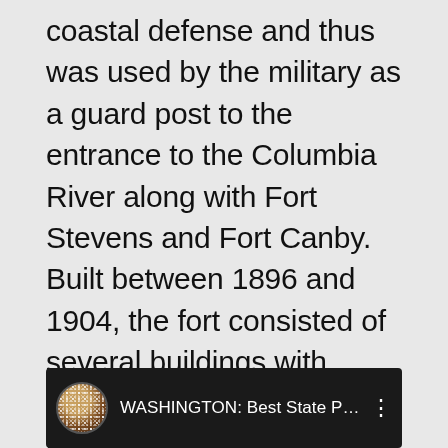coastal defense and thus was used by the military as a guard post to the entrance to the Columbia River along with Fort Stevens and Fort Canby. Built between 1896 and 1904, the fort consisted of several buildings with three major guns. Two six inch cannons remain on site at Battery 246; there are only four similar cannons in existence remaining in the world. The Gun batteries on site remain open for people to wander through and the interpretative panels nearby explain how the fort worked when it was in service.
[Figure (screenshot): YouTube video thumbnail showing a man's avatar/profile picture on the left with a dark background, and the title 'WASHINGTON: Best State Parks | ...' in white text, with a three-dot menu icon on the right.]